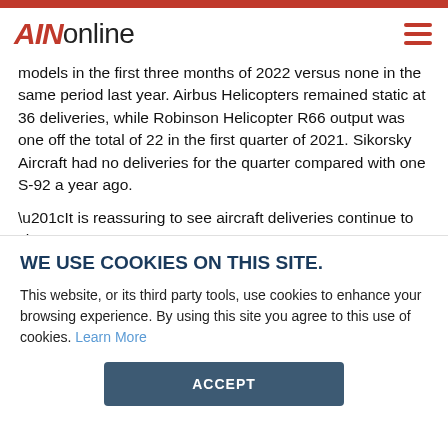AINonline
models in the first three months of 2022 versus none in the same period last year. Airbus Helicopters remained static at 36 deliveries, while Robinson Helicopter R66 output was one off the total of 22 in the first quarter of 2021. Sikorsky Aircraft had no deliveries for the quarter compared with one S-92 a year ago.
“It is reassuring to see aircraft deliveries continue to show
WE USE COOKIES ON THIS SITE.
This website, or its third party tools, use cookies to enhance your browsing experience. By using this site you agree to this use of cookies. Learn More
ACCEPT